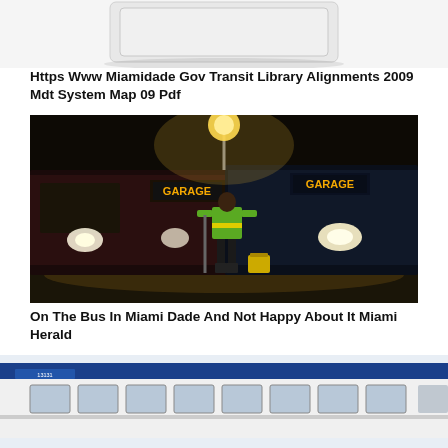[Figure (photo): Partial view of a white/gray device or box at the top of the page, cropped]
Https Www Miamidade Gov Transit Library Alignments 2009 Mdt System Map 09 Pdf
[Figure (photo): Night scene at a bus garage with two buses displaying 'GARAGE' on their destination signs, a worker in a green safety vest standing between them washing the buses under orange artificial lighting]
On The Bus In Miami Dade And Not Happy About It Miami Herald
[Figure (photo): Side view of a blue and white Miami-Dade Transit bus, partially cropped at the bottom of the page]